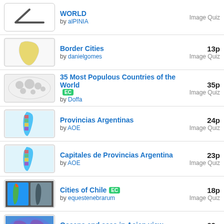WORLD by alPINIA Image Quiz
Border Cities by danielgomes 13p Image Quiz
35 Most Populous Countries of the World EC by Doffa 35p Image Quiz
Provincias Argentinas by AOE 24p Image Quiz
Capitales de Provincias Argentina by AOE 23p Image Quiz
Cities of Chile EC by equestenebrarum 18p Image Quiz
Oceans and seas in Asian view by Snavelaar 60p Image Quiz